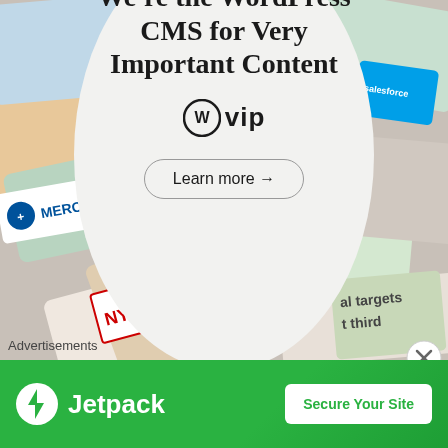[Figure (illustration): Advertisement for WordPress VIP CMS. A large circular white overlay on a background collage of various brand logos (Merck, Hachette Book Group, NY Post, etc.). The circle contains the headline text 'We're the WordPress CMS for Very Important Content', the WordPress VIP logo, and a 'Learn more' button with an arrow.]
Advertisements
[Figure (illustration): Jetpack advertisement banner with green background. Left side shows the Jetpack logo (lightning bolt icon) and wordmark 'Jetpack'. Right side shows a white button with green text 'Secure Your Site'.]